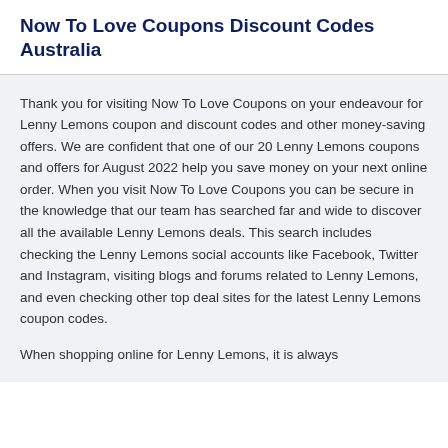Now To Love Coupons Discount Codes Australia
Thank you for visiting Now To Love Coupons on your endeavour for Lenny Lemons coupon and discount codes and other money-saving offers. We are confident that one of our 20 Lenny Lemons coupons and offers for August 2022 help you save money on your next online order. When you visit Now To Love Coupons you can be secure in the knowledge that our team has searched far and wide to discover all the available Lenny Lemons deals. This search includes checking the Lenny Lemons social accounts like Facebook, Twitter and Instagram, visiting blogs and forums related to Lenny Lemons, and even checking other top deal sites for the latest Lenny Lemons coupon codes.
When shopping online for Lenny Lemons, it is always